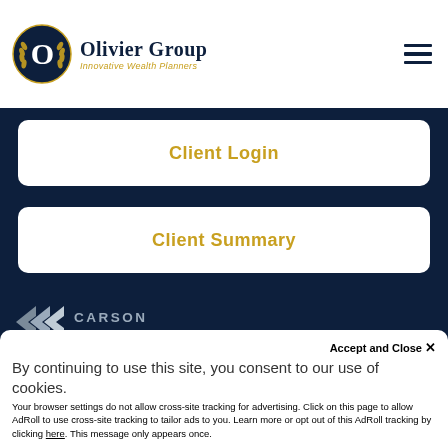[Figure (logo): Olivier Group logo with dark navy circle containing a gold 'O' with wheat/laurel wreath decoration, beside text 'Olivier Group' in dark navy serif font and 'Innovative Wealth Planners' in gold italic]
Client Login
Client Summary
[Figure (logo): Carson Partners logo with grey geometric arrow/chevron shapes and text 'CARSON PARTNERS' in grey uppercase letters]
By continuing to use this site, you consent to our use of cookies.
Accept and Close ✕
Your browser settings do not allow cross-site tracking for advertising. Click on this page to allow AdRoll to use cross-site tracking to tailor ads to you. Learn more or opt out of this AdRoll tracking by clicking here. This message only appears once.